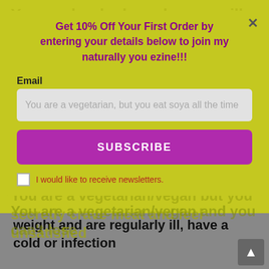You are hooked on cheese, milk and other dairy
Get 10% Off Your First Order by entering your details below to join my naturally you ezine!!!
Email
You are a vegetarian, but you eat soya all the time
SUBSCRIBE
You are a vegetarian/vegan but you secretly crave meat and feel unsatisfied
I would like to receive newsletters.
You are a vegetarian/vegan and you can't lose weight and are regularly ill, have a cold or infection
You fall asleep after a high protein high fat meal
You've tried raw food but you always feel stuffed, starving or unsatisfied